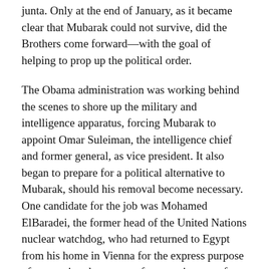junta. Only at the end of January, as it became clear that Mubarak could not survive, did the Brothers come forward—with the goal of helping to prop up the political order.
The Obama administration was working behind the scenes to shore up the military and intelligence apparatus, forcing Mubarak to appoint Omar Suleiman, the intelligence chief and former general, as vice president. It also began to prepare for a political alternative to Mubarak, should his removal become necessary. One candidate for the job was Mohamed ElBaradei, the former head of the United Nations nuclear watchdog, who had returned to Egypt from his home in Vienna for the express purpose of preventing the protests from getting out of hand.
Either way, Washington could retain control of the situation only with the help of the Brotherhood, which led the only political party with significant support. The